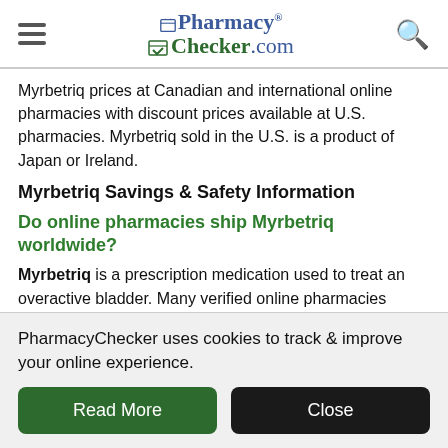PharmacyChecker.com
Myrbetriq prices at Canadian and international online pharmacies with discount prices available at U.S. pharmacies. Myrbetriq sold in the U.S. is a product of Japan or Ireland.
Myrbetriq Savings & Safety Information
Do online pharmacies ship Myrbetriq worldwide?
Myrbetriq is a prescription medication used to treat an overactive bladder. Many verified online pharmacies listing prices on PharmacyChecker.com provide shipping worldwide. Shipping Myrbetriq To ensure delivery to your residence, it is best to check with your
PharmacyChecker uses cookies to track & improve your online experience.